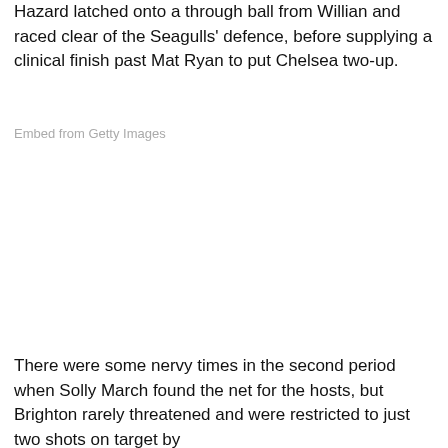Hazard latched onto a through ball from Willian and raced clear of the Seagulls' defence, before supplying a clinical finish past Mat Ryan to put Chelsea two-up.
Embed from Getty Images
[Figure (photo): Embedded image placeholder from Getty Images — large white/blank area]
There were some nervy times in the second period when Solly March found the net for the hosts, but Brighton rarely threatened and were restricted to just two shots on target by